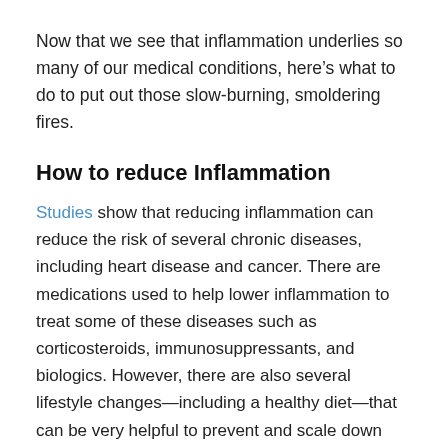Now that we see that inflammation underlies so many of our medical conditions, here’s what to do to put out those slow-burning, smoldering fires.
How to reduce Inflammation
Studies show that reducing inflammation can reduce the risk of several chronic diseases, including heart disease and cancer. There are medications used to help lower inflammation to treat some of these diseases such as corticosteroids, immunosuppressants, and biologics. However, there are also several lifestyle changes—including a healthy diet—that can be very helpful to prevent and scale down inflammation to reduce its many damaging effects on the body.